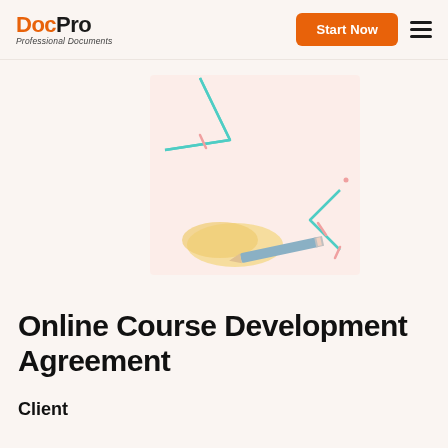DocPro Professional Documents
[Figure (illustration): Decorative illustration with geometric shapes, pencil, and paper on a light pink/cream background. Teal triangle outlines, a yellow/tan organic shape, a blue-grey pencil, and small pink accent marks.]
Online Course Development Agreement
Client